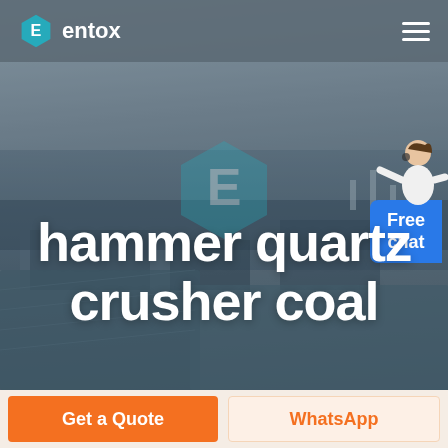[Figure (screenshot): Entox website header screenshot showing industrial facility aerial view background, company logo top-left, hamburger menu top-right, teal hexagon watermark logo in center, 'Free chat' bubble on right side, and large white headline text 'hammer quartz crusher coal' overlaid on the image]
hammer quartz crusher coal
Get a Quote
WhatsApp